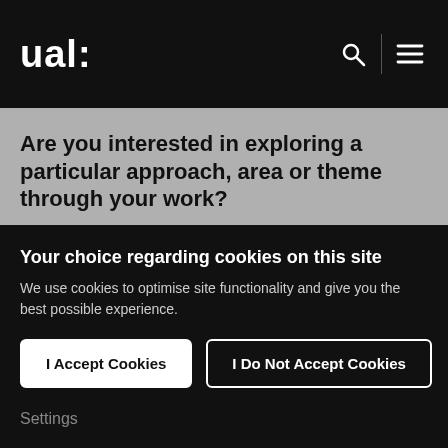ual:
Are you interested in exploring a particular approach, area or theme through your work?
My design interest lies across type, editorial and print, and often in exploring them all simultaneously. I'm particularly interested in learning more about
Your choice regarding cookies on this site
We use cookies to optimise site functionality and give you the best possible experience.
I Accept Cookies
I Do Not Accept Cookies
Settings